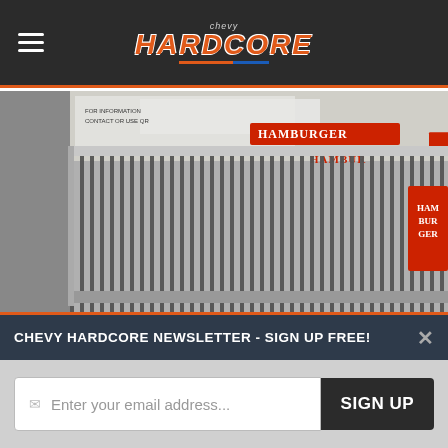Chevy Hardcore
[Figure (photo): Close-up photo of aluminum intercooler or radiator fins with a sign/label reading HAMBURGER in the background]
When you can make the landscape better than when you found it, you have done something worthy of praise. Ed Hamburger is one of those people. In addition to his product line of superchargers, he is enshrined in the NHRA Northeast Division Hall of Fame for drag racing, and started his first business in
CHEVY HARDCORE NEWSLETTER - SIGN UP FREE!
Enter your email address...  SIGN UP